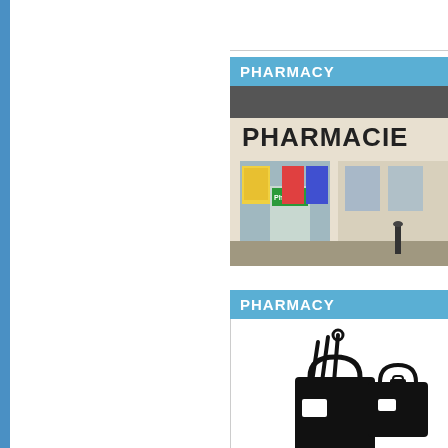[Figure (photo): Blue vertical sidebar stripe on left side of page]
PHARMACY
[Figure (photo): Photo of a French pharmacy storefront with sign reading PHARMACIE]
PHARMACY
[Figure (illustration): Black icons of shopping bags representing pharmacy/retail items]